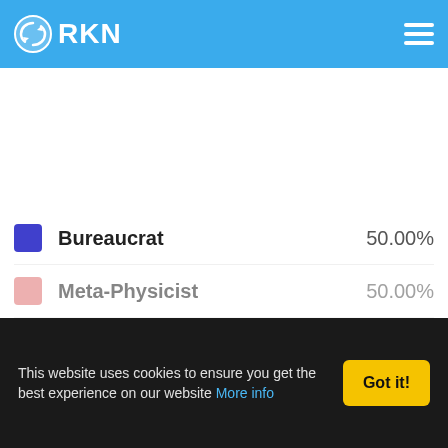RKN
[Figure (other): White empty content area — likely a chart or map area that is blank/loading]
Bureaucrat 50.00%
Meta-Physicist 50.00%
This website uses cookies to ensure you get the best experience on our website More info